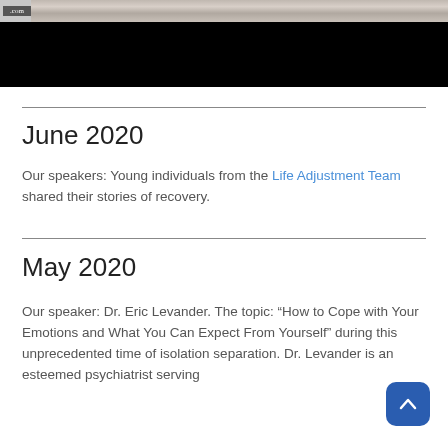[Figure (screenshot): Video player screenshot showing a partially visible image of people at the top and a black video player bar below.]
June 2020
Our speakers: Young individuals from the Life Adjustment Team shared their stories of recovery.
May 2020
Our speaker: Dr. Eric Levander. The topic: “How to Cope with Your Emotions and What You Can Expect From Yourself” during this unprecedented time of isolation separation. Dr. Levander is an esteemed psychiatrist serving